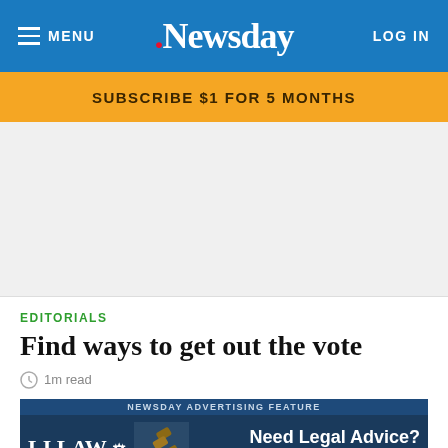MENU  Newsday  LOG IN
SUBSCRIBE $1 FOR 5 MONTHS
[Figure (other): White/grey advertisement placeholder space]
EDITORIALS
Find ways to get out the vote
1m read
[Figure (other): Newsday Advertising Feature - LI LAW - Need Legal Advice? Click to View]